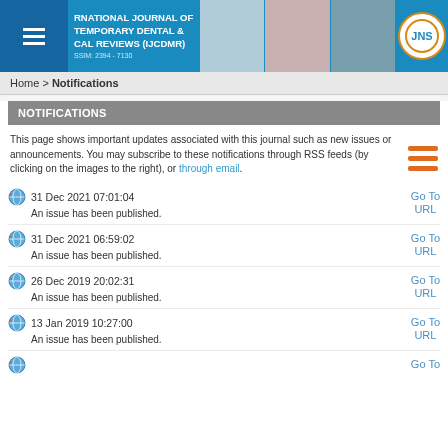INTERNATIONAL JOURNAL OF TEMPORARY DENTAL & CLINICAL REVIEWS (IJCDMR) ISSN: 2394-7130
Home > Notifications
NOTIFICATIONS
This page shows important updates associated with this journal such as new issues or announcements. You may subscribe to these notifications through RSS feeds (by clicking on the images to the right), or through email.
31 Dec 2021 07:01:04
An issue has been published.
Go To URL
31 Dec 2021 06:59:02
An issue has been published.
Go To URL
26 Dec 2019 20:02:31
An issue has been published.
Go To URL
13 Jan 2019 10:27:00
An issue has been published.
Go To URL
Go To